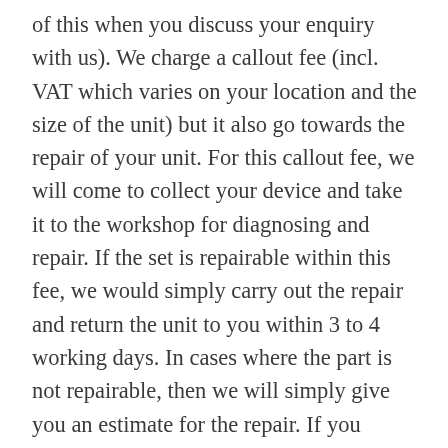of this when you discuss your enquiry with us). We charge a callout fee (incl. VAT which varies on your location and the size of the unit) but it also go towards the repair of your unit. For this callout fee, we will come to collect your device and take it to the workshop for diagnosing and repair. If the set is repairable within this fee, we would simply carry out the repair and return the unit to you within 3 to 4 working days. In cases where the part is not repairable, then we will simply give you an estimate for the repair. If you decide to go ahead with the repair quote then your callout fee will be deducted from the total balance and you will pay the difference on delivery.